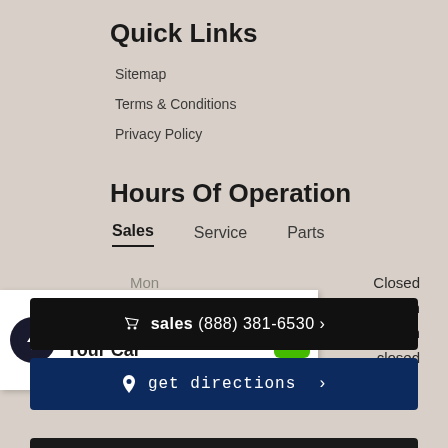Quick Links
Sitemap
Terms & Conditions
Privacy Policy
Hours Of Operation
Sales  Service  Parts
| Day | Hours |
| --- | --- |
| Mon | Closed |
| Tue - Thu | 9:00am - 9:00pm |
| Fri - Sat | 9:00am - 6:00pm |
| Sun | closed |
[Figure (logo): We'll Buy Your Car promotional banner with lightning bolt logo and green arrow button]
sales (888) 381-6530 >
get directions >